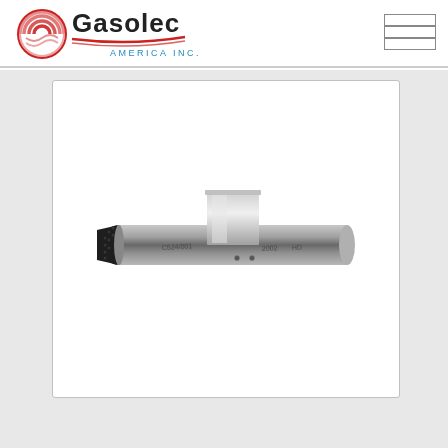[Figure (logo): Gasolec America Inc. company logo with red circular wave graphic and red swoosh lines under the text]
[Figure (photo): A metal cylindrical gas sensor probe with a sintered porous black tip on the left end, a rectangular bracket/clip on top, and text markings on the barrel including serial/date codes. The device appears to be a gas detection sensor or probe assembly.]